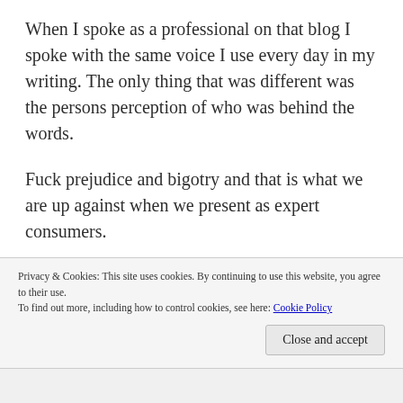When I spoke as a professional on that blog I spoke with the same voice I use every day in my writing. The only thing that was different was the persons perception of who was behind the words.
Fuck prejudice and bigotry and that is what we are up against when we present as expert consumers.
My husband was kind of rough on me when I told him I thought I would go back in the closet for professional reasons. He said that does nothing to help dispel the stigma. And in some ways he is
Privacy & Cookies: This site uses cookies. By continuing to use this website, you agree to their use.
To find out more, including how to control cookies, see here: Cookie Policy
Close and accept